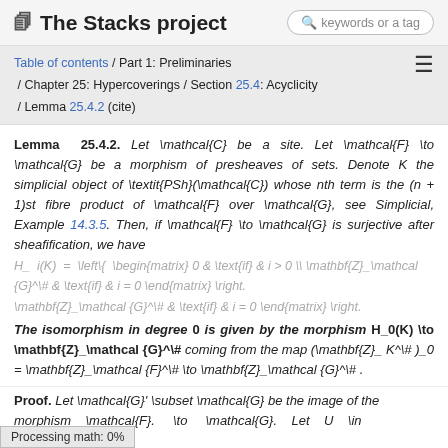The Stacks project
Table of contents / Part 1: Preliminaries / Chapter 25: Hypercoverings / Section 25.4: Acyclicity / Lemma 25.4.2 (cite)
Lemma 25.4.2. Let \mathcal{C} be a site. Let \mathcal{F} \to \mathcal{G} be a morphism of presheaves of sets. Denote K the simplicial object of \textit{PSh}(\mathcal{C}) whose nth term is the (n + 1)st fibre product of \mathcal{F} over \mathcal{G}, see Simplicial, Example 14.3.5. Then, if \mathcal{F} \to \mathcal{G} is surjective after sheafification, we have
The isomorphism in degree 0 is given by the morphism H_0(K) \to \mathbf{Z}_\mathcal{G}^\# coming from the map (\mathbf{Z}_K^\# )_0 = \mathbf{Z}_\mathcal{F}^\# \to \mathbf{Z}_\mathcal{G}^\# .
Proof. Let \mathcal{G}' \subset \mathcal{G} be the image of the morphism \mathcal{F} \to \mathcal{G}. Let U \in